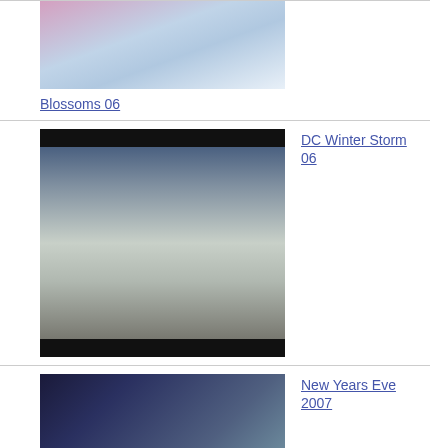[Figure (photo): Cherry blossoms photo thumbnail (Blossoms 06 album)]
Blossoms 06
[Figure (photo): Snow scene showing US Capitol building (DC Winter Storm 06 album)]
DC Winter Storm 06
[Figure (photo): People at a New Years Eve party 2007]
New Years Eve 2007
[Figure (photo): Pumpkin Punch 06 photo thumbnail showing outdoor scene]
Pumpkin Punch 06
[Figure (photo): Turks and ... (partially visible album thumbnail)]
Turks and